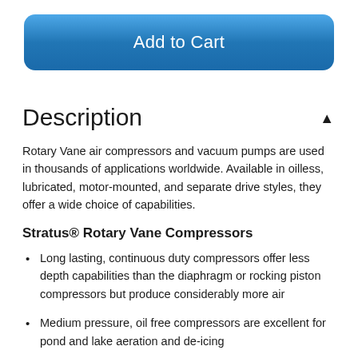[Figure (other): Blue rounded rectangle button labeled 'Add to Cart']
Description
Rotary Vane air compressors and vacuum pumps are used in thousands of applications worldwide. Available in oilless, lubricated, motor-mounted, and separate drive styles, they offer a wide choice of capabilities.
Stratus® Rotary Vane Compressors
Long lasting, continuous duty compressors offer less depth capabilities than the diaphragm or rocking piston compressors but produce considerably more air
Medium pressure, oil free compressors are excellent for pond and lake aeration and de-icing
Carbon vanes self adjust to maintain maximum efficiency and are easily replaced when worn out
All models have an 18' maximum operating depth, they come with air